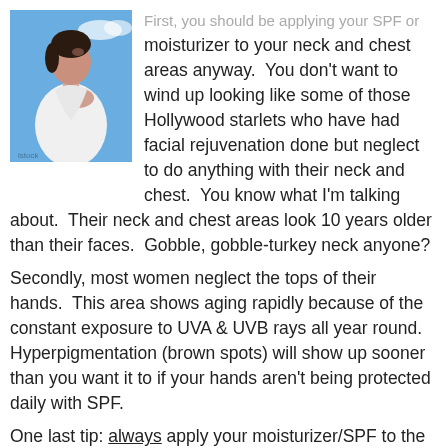[Figure (photo): Woman in white robe touching her neck against blue sky background]
First, you should be applying your SPF or moisturizer to your neck and chest areas anyway. You don't want to wind up looking like some of those Hollywood starlets who have had facial rejuvenation done but neglect to do anything with their neck and chest. You know what I'm talking about. Their neck and chest areas look 10 years older than their faces. Gobble, gobble-turkey neck anyone?
Secondly, most women neglect the tops of their hands. This area shows aging rapidly because of the constant exposure to UVA & UVB rays all year round. Hyperpigmentation (brown spots) will show up sooner than you want it to if your hands aren't being protected daily with SPF.
One last tip: always apply your moisturizer/SPF to the face,